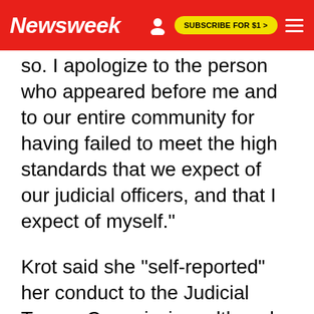Newsweek | SUBSCRIBE FOR $1 >
so. I apologize to the person who appeared before me and to our entire community for having failed to meet the high standards that we expect of our judicial officers, and that I expect of myself."
Krot said she "self-reported" her conduct to the Judicial Tenure Commission, although she had "no legal duty" to do so.